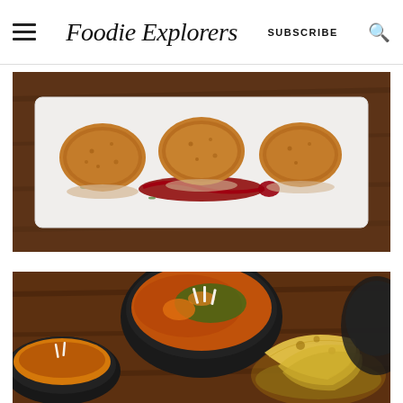Foodie Explorers — SUBSCRIBE
[Figure (photo): Three golden-fried crab/fish cakes plated on a white rectangular plate with a red sauce drizzle and micro greens garnish, on a wooden table]
[Figure (photo): Indian food spread with multiple black bowls containing curries and bread/papadums in a basket, on a wooden table]